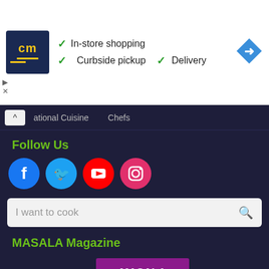[Figure (screenshot): Advertisement banner with CM logo, checkmarks for In-store shopping, Curbside pickup, Delivery, and a navigation arrow icon]
ational Cuisine   Chefs
Follow Us
[Figure (infographic): Social media icons: Facebook (blue circle), Twitter (light blue circle), YouTube (red circle), Instagram (pink circle)]
I want to cook
MASALA Magazine
[Figure (photo): Two MASALA TV Food Magazine covers stacked/overlapping, showing colorful food imagery with Arabic text logos]